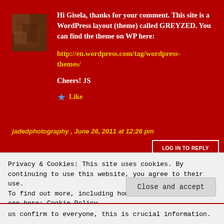[Figure (photo): Small avatar photo thumbnail, dark reddish-brown interior scene]
Hi Gisela, thanks for your comment. This site is a WordPress layout (theme) called GREYZED. You can find the theme on WP here:
http://en.wordpress.com/tag/wordpress-themes/
Cheers! JS
Like
jadedphotography , June 26, 2011 at 12:26 pm
LOG IN TO REPLY
Privacy & Cookies: This site uses cookies. By continuing to use this website, you agree to their use.
To find out more, including how to control cookies, see here: Cookie Policy
Close and accept
us confirm to everyone, this is crucial information.